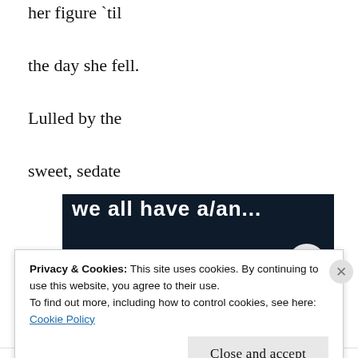her figure `til
the day she fell.
Lulled by the
sweet, sedate
[Figure (screenshot): Dark navy banner with white bold text partially visible reading 'we all have a/an...' with a pink bar element and white circle overlay]
Privacy & Cookies: This site uses cookies. By continuing to use this website, you agree to their use.
To find out more, including how to control cookies, see here:
Cookie Policy
Close and accept